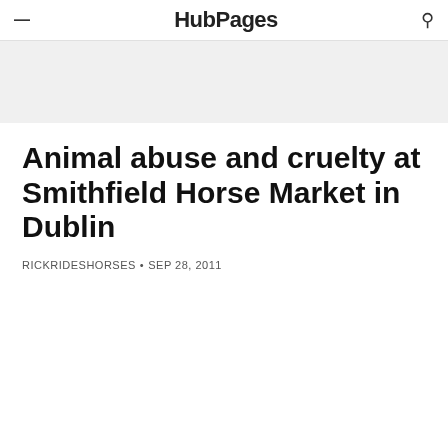HubPages
Animal abuse and cruelty at Smithfield Horse Market in Dublin
RICKRIDESHORSES • SEP 28, 2011